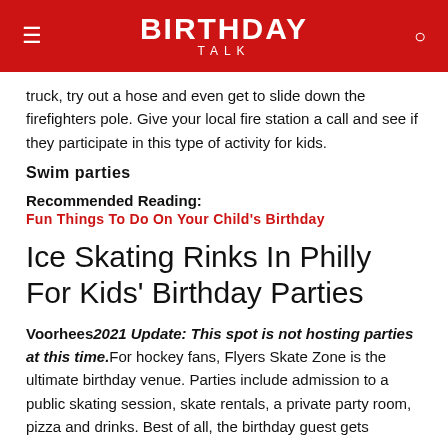BIRTHDAY TALK
truck, try out a hose and even get to slide down the firefighters pole. Give your local fire station a call and see if they participate in this type of activity for kids.
Swim parties
Recommended Reading:
Fun Things To Do On Your Child's Birthday
Ice Skating Rinks In Philly For Kids' Birthday Parties
Voorhees 2021 Update: This spot is not hosting parties at this time. For hockey fans, Flyers Skate Zone is the ultimate birthday venue. Parties include admission to a public skating session, skate rentals, a private party room, pizza and drinks. Best of all, the birthday guest gets